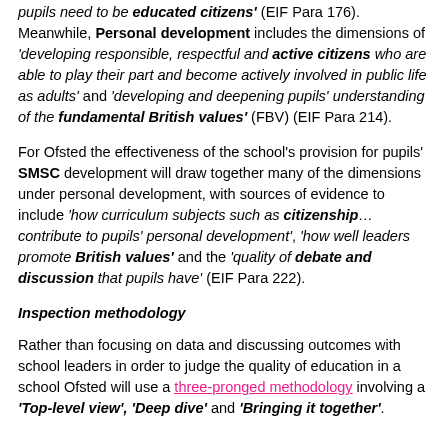pupils need to be educated citizens' (EIF Para 176). Meanwhile, Personal development includes the dimensions of 'developing responsible, respectful and active citizens who are able to play their part and become actively involved in public life as adults' and 'developing and deepening pupils' understanding of the fundamental British values' (FBV) (EIF Para 214).
For Ofsted the effectiveness of the school's provision for pupils' SMSC development will draw together many of the dimensions under personal development, with sources of evidence to include 'how curriculum subjects such as citizenship… contribute to pupils' personal development', 'how well leaders promote British values' and the 'quality of debate and discussion that pupils have' (EIF Para 222).
Inspection methodology
Rather than focusing on data and discussing outcomes with school leaders in order to judge the quality of education in a school Ofsted will use a three-pronged methodology involving a 'Top-level view', 'Deep dive' and 'Bringing it together'.